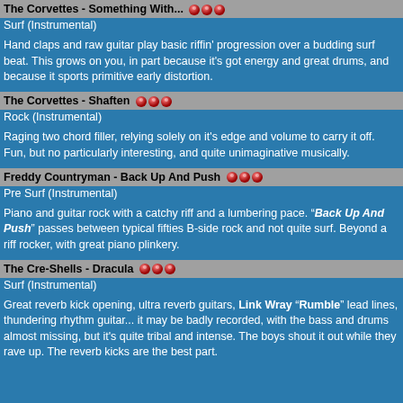The Corvettes - Something With... ●●●
Surf (Instrumental)
Hand claps and raw guitar play basic riffin' progression over a budding surf beat. This grows on you, in part because it's got energy and great drums, and because it sports primitive early distortion.
The Corvettes - Shaften ●●●
Rock (Instrumental)
Raging two chord filler, relying solely on it's edge and volume to carry it off. Fun, but no particularly interesting, and quite unimaginative musically.
Freddy Countryman - Back Up And Push ●●●
Pre Surf (Instrumental)
Piano and guitar rock with a catchy riff and a lumbering pace. "Back Up And Push" passes between typical fifties B-side rock and not quite surf. Beyond a riff rocker, with great piano plinkery.
The Cre-Shells - Dracula ●●●
Surf (Instrumental)
Great reverb kick opening, ultra reverb guitars, Link Wray "Rumble" lead lines, thundering rhythm guitar... it may be badly recorded, with the bass and drums almost missing, but it's quite tribal and intense. The boys shout it out while they rave up. The reverb kicks are the best part.